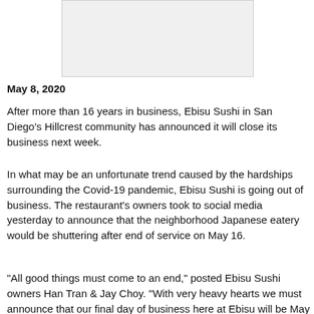[Figure (photo): Photo placeholder — image of Ebisu Sushi restaurant]
May 8, 2020
After more than 16 years in business, Ebisu Sushi in San Diego's Hillcrest community has announced it will close its business next week.
In what may be an unfortunate trend caused by the hardships surrounding the Covid-19 pandemic, Ebisu Sushi is going out of business. The restaurant's owners took to social media yesterday to announce that the neighborhood Japanese eatery would be shuttering after end of service on May 16.
"All good things must come to an end," posted Ebisu Sushi owners Han Tran & Jay Choy. "With very heavy hearts we must announce that our final day of business here at Ebisu will be May 16th. 16.5 years is a damn great run, and we are